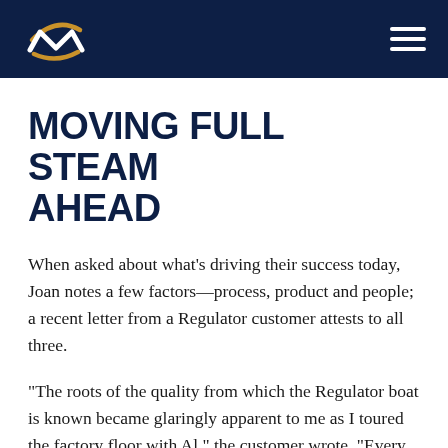[Navigation bar with logo and menu icon]
MOVING FULL STEAM AHEAD
When asked about what's driving their success today, Joan notes a few factors—process, product and people; a recent letter from a Regulator customer attests to all three.
“The roots of the quality from which the Regulator boat is known became glaringly apparent to me as I toured the factory floor with Al,” the customer wrote. “Every associate on the factory floor